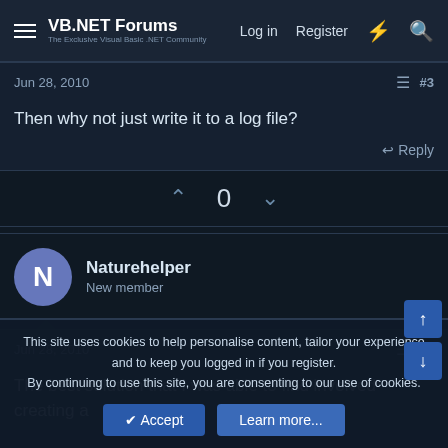VB.NET Forums  Log in  Register
Jun 28, 2010   #3
Then why not just write it to a log file?
↩ Reply
^ 0 v
Naturehelper
New member
Jun 28, 2010   #4
The best solution that I was able to find involved creating a
This site uses cookies to help personalise content, tailor your experience and to keep you logged in if you register.
By continuing to use this site, you are consenting to our use of cookies.
✓ Accept   Learn more...